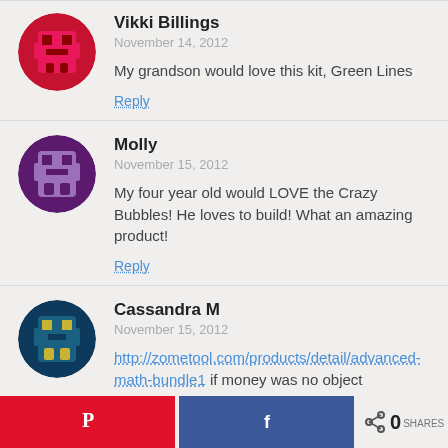Vikki Billings
November 14, 2012
My grandson would love this kit, Green Lines
Reply
Molly
November 15, 2012
My four year old would LOVE the Crazy Bubbles! He loves to build! What an amazing product!
Reply
Cassandra M
November 15, 2012
http://zometool.com/products/detail/advanced-math-bundle1 if money was no object